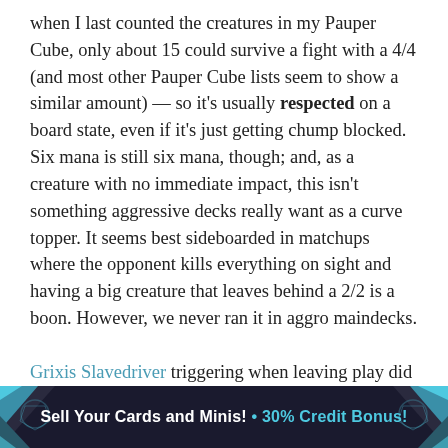when I last counted the creatures in my Pauper Cube, only about 15 could survive a fight with a 4/4 (and most other Pauper Cube lists seem to show a similar amount) — so it's usually respected on a board state, even if it's just getting chump blocked. Six mana is still six mana, though; and, as a creature with no immediate impact, this isn't something aggressive decks really want as a curve topper. It seems best sideboarded in matchups where the opponent kills everything on sight and having a big creature that leaves behind a 2/2 is a boon. However, we never ran it in aggro maindecks.
Grixis Slavedriver triggering when leaving play did provide some incentives in combinations like Orzhov, Dimir and Esper midrange and control. It combines well with blink effects like Ghostly Flicker and Otherworldly Journey...
[Figure (other): Advertisement banner: 'Sell Your Cards and Minis! • 30% Credit Bonus!' with teal geometric triangle decorations on dark background]